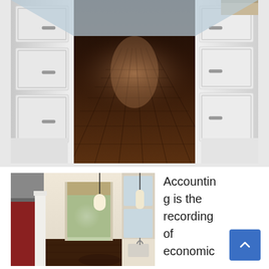[Figure (photo): Interior hallway of a kitchen with dark polished hardwood floors, white painted cabinetry on both sides with silver hardware, and granite countertops visible on the right. Overhead lighting reflects off the gleaming floor surface.]
[Figure (photo): Open kitchen interior with cream walls, dark hardwood floors, center island with craftsman-style columns, pendant lighting, a window with roman shade, range hood on the left, and glass-front upper cabinets on the right with a farmhouse sink.]
Accounting is the recording of economic